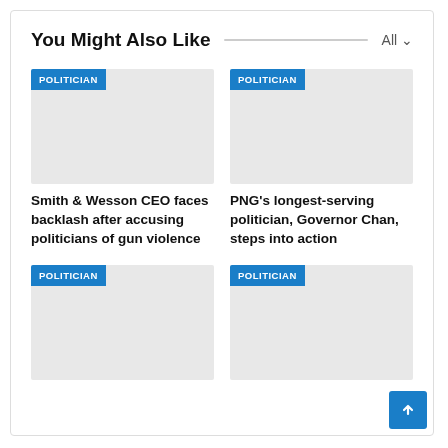You Might Also Like
[Figure (screenshot): Gray placeholder image with POLITICIAN badge for Smith & Wesson CEO article]
Smith & Wesson CEO faces backlash after accusing politicians of gun violence
[Figure (screenshot): Gray placeholder image with POLITICIAN badge for PNG's longest-serving politician article]
PNG's longest-serving politician, Governor Chan, steps into action
[Figure (screenshot): Gray placeholder image with POLITICIAN badge (bottom left card)]
[Figure (screenshot): Gray placeholder image with POLITICIAN badge (bottom right card)]